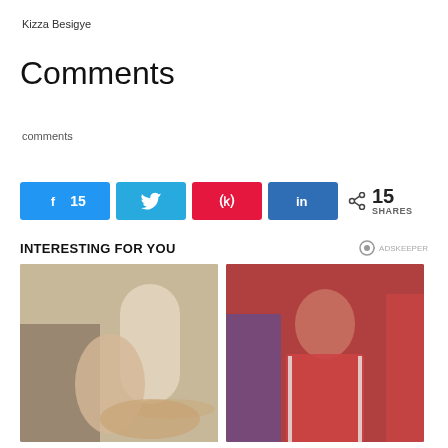Kizza Besigye
Comments
comments
[Figure (infographic): Social share buttons: Facebook (15), Twitter, Pinterest, LinkedIn, and a share count showing 15 SHARES]
INTERESTING FOR YOU
[Figure (photo): Woman sitting on couch with a golden retriever dog, lamp in background]
[Figure (photo): Person in red sports jersey bending down, crowd in background]